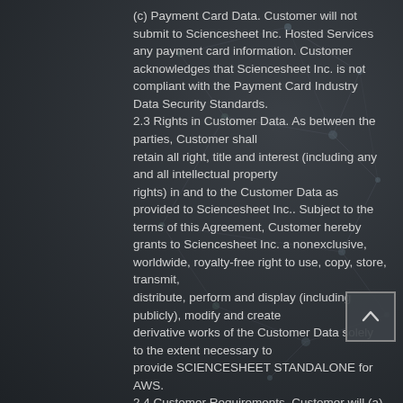(c) Payment Card Data. Customer will not submit to Sciencesheet Inc. Hosted Services any payment card information. Customer acknowledges that Sciencesheet Inc. is not compliant with the Payment Card Industry Data Security Standards. 2.3 Rights in Customer Data. As between the parties, Customer shall retain all right, title and interest (including any and all intellectual property rights) in and to the Customer Data as provided to Sciencesheet Inc.. Subject to the terms of this Agreement, Customer hereby grants to Sciencesheet Inc. a nonexclusive, worldwide, royalty-free right to use, copy, store, transmit, distribute, perform and display (including publicly), modify and create derivative works of the Customer Data solely to the extent necessary to provide SCIENCESHEET STANDALONE for AWS. 2.4 Customer Requirements. Customer will (a) designate a primary point of contact with the appropriate functional knowledge and skills to work with